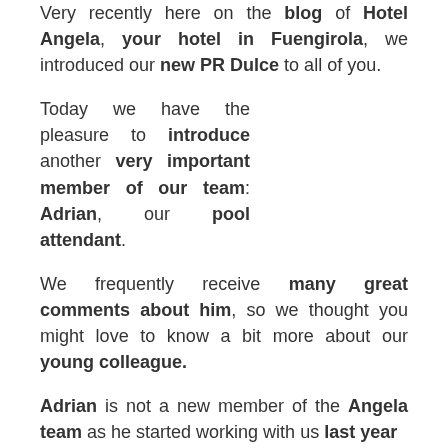Very recently here on the blog of Hotel Angela, your hotel in Fuengirola, we introduced our new PR Dulce to all of you.
Today we have the pleasure to introduce another very important member of our team: Adrian, our pool attendant.
We frequently receive many great comments about him, so we thought you might love to know a bit more about our young colleague.
Adrian is not a new member of the Angela team as he started working with us last year